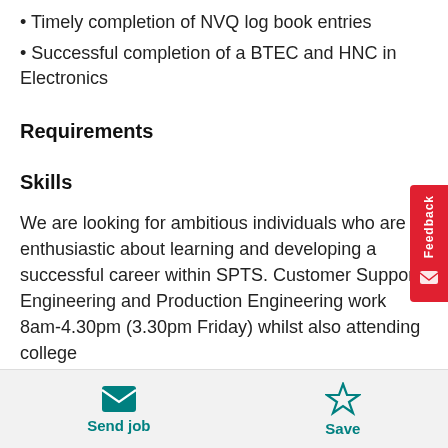• Timely completion of NVQ log book entries
• Successful completion of a BTEC and HNC in Electronics
Requirements
Skills
We are looking for ambitious individuals who are enthusiastic about learning and developing a successful career within SPTS. Customer Support Engineering and Production Engineering work 8am-4.30pm (3.30pm Friday) whilst also attending college